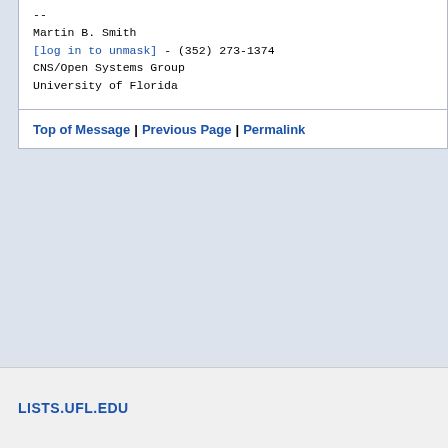--
Martin B. Smith
[log in to unmask] - (352) 273-1374
CNS/Open Systems Group
University of Florida
Top of Message | Previous Page | Permalink
LISTS.UFL.EDU